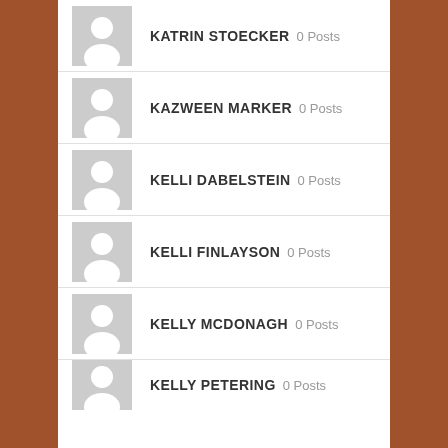KATRIN STOECKER 0 Posts
KAZWEEN MARKER 0 Posts
KELLI DABELSTEIN 0 Posts
KELLI FINLAYSON 0 Posts
KELLY MCDONAGH 0 Posts
KELLY PETERING 0 Posts